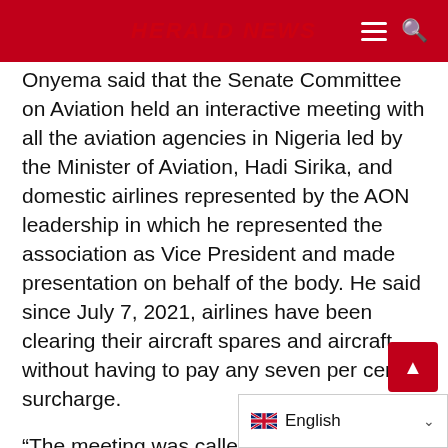HERALD NEWS
Onyema said that the Senate Committee on Aviation held an interactive meeting with all the aviation agencies in Nigeria led by the Minister of Aviation, Hadi Sirika, and domestic airlines represented by the AON leadership in which he represented the association as Vice President and made presentation on behalf of the body. He said since July 7, 2021, airlines have been clearing their aircraft spares and aircraft without having to pay any seven per cent surcharge.
“The meeting was called by the Senate to discuss the reasons for the recent upsurge in flight delays and flight cancellations among other issues and challenges facing the aviation industry. It was on this occasion that AON mad